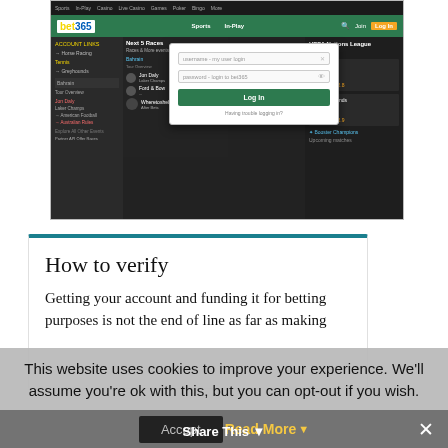[Figure (screenshot): Bet365 sports betting website screenshot showing the login modal with username and password fields and a green Log In button, over a dark-themed sports interface showing UEFA Nations League odds in right panel.]
How to verify
Getting your account and funding it for betting purposes is not the end of line as far as making
This website uses cookies to improve your experience. We'll assume you're ok with this, but you can opt-out if you wish.
Accept  Read More  Share This